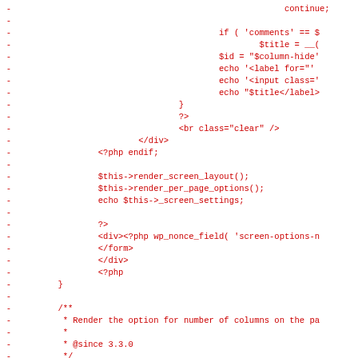[Figure (screenshot): Code diff view showing PHP/HTML code in red on white background. Lines are prefixed with '-' indicating deleted lines. The code includes PHP logic for screen options, rendering screen layout, per page options, nonce fields, and a function definition for render_screen_layout.]